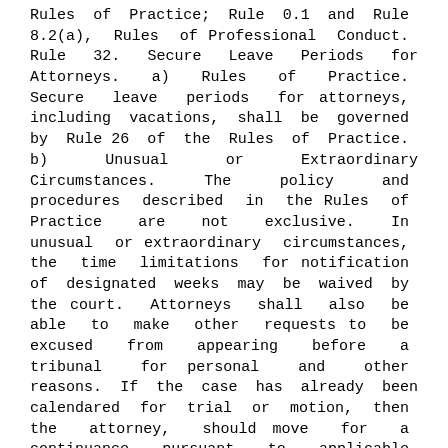Rules of Practice; Rule 0.1 and Rule 8.2(a), Rules of Professional Conduct. Rule 32. Secure Leave Periods for Attorneys. a) Rules of Practice. Secure leave periods for attorneys, including vacations, shall be governed by Rule 26 of the Rules of Practice. b) Unusual or Extraordinary Circumstances. The policy and procedures described in the Rules of Practice are not exclusive. In unusual or extraordinary circumstances, the time limitations for notification of designated weeks may be waived by the court. Attorneys shall also be able to make other requests to be excused from appearing before a tribunal for personal and other reasons. If the case has already been calendared for trial or motion, then the attorney, should move for a continuance pursuant to applicable rules or policies. Rule 33. Medico-Legal Guidelines of North Carolina. a) Policy. The civil justice system operates more efficiently when the relationship between attorneys and physicians is based upon mutual respect, courtesy, and understanding. b) Rule. The current version of the Medico-Legal Guidelines of North Carolina as adopted by the North Carolina Bar Association and the North Carolina Medical Society is hereby incorporated herein by reference. c) Conduct